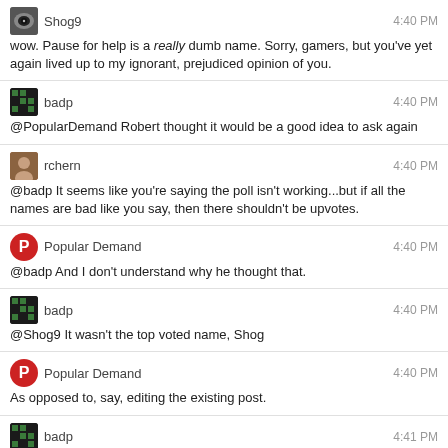Shog9 4:40 PM
wow. Pause for help is a really dumb name. Sorry, gamers, but you've yet again lived up to my ignorant, prejudiced opinion of you.
badp 4:40 PM
@PopularDemand Robert thought it would be a good idea to ask again
rchern 4:40 PM
@badp It seems like you're saying the poll isn't working...but if all the names are bad like you say, then there shouldn't be upvotes.
Popular Demand 4:40 PM
@badp And I don't understand why he thought that.
badp 4:40 PM
@Shog9 It wasn't the top voted name, Shog
Popular Demand 4:40 PM
As opposed to, say, editing the existing post.
badp 4:41 PM
@rchern Maybe you should check out the original question
Shog9 4:41 PM
@badp Then why is RobCC claiming it's the only viable one? All the other choices were already taken?